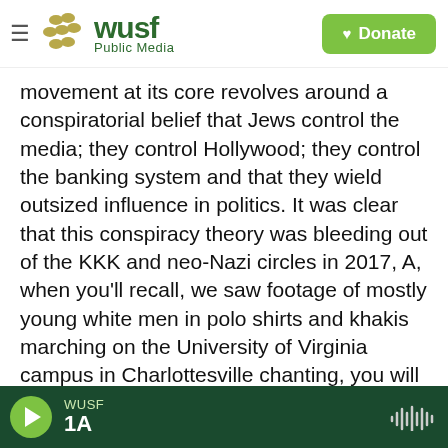[Figure (logo): WUSF Public Media logo with hamburger menu icon and green Donate button]
movement at its core revolves around a conspiratorial belief that Jews control the media; they control Hollywood; they control the banking system and that they wield outsized influence in politics. It was clear that this conspiracy theory was bleeding out of the KKK and neo-Nazi circles in 2017, A, when you'll recall, we saw footage of mostly young white men in polo shirts and khakis marching on the University of Virginia campus in Charlottesville chanting, you will not replace us, or, the Jews will not replace us.
MARTINEZ: You know, we remember that. As we
[Figure (screenshot): WUSF audio player footer bar with play button, WUSF 1A label, and waveform icon on dark green background]